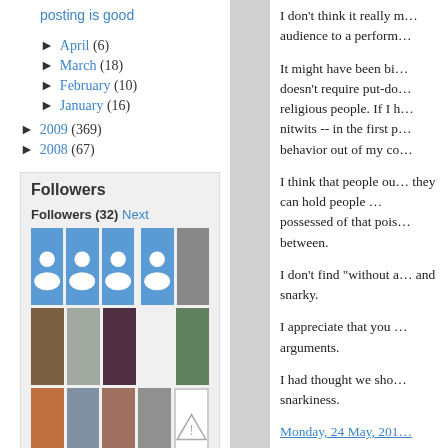posting is good
► April (6)
► March (18)
► February (10)
► January (16)
► 2009 (369)
► 2008 (67)
Followers
Followers (32) Next
[Figure (other): Grid of follower avatar photos and placeholder icons]
I don't think it really m… audience to a perform…
It might have been bi… doesn't require put-do… religious people. If I … nitwits -- in the first p… behavior out of my co…
I think that people ou… they can hold people … possessed of that pois… between.
I don't find "without a… and snarky.
I appreciate that you … arguments.
I had thought we sho… snarkiness.
Monday, 24 May, 201…